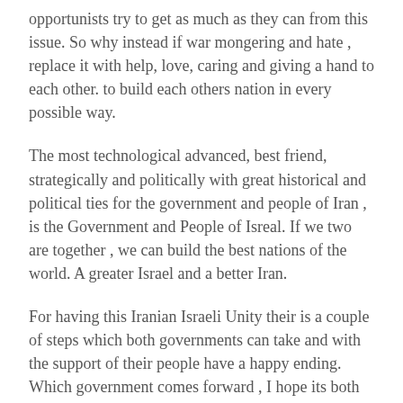opportunists try to get as much as they can from this issue. So why instead if war mongering and hate , replace it with help, love, caring and giving a hand to each other. to build each others nation in every possible way.
The most technological advanced, best friend, strategically and politically with great historical and political ties for the government and people of Iran , is the Government and People of Isreal. If we two are together , we can build the best nations of the world. A greater Israel and a better Iran.
For having this Iranian Israeli Unity their is a couple of steps which both governments can take and with the support of their people have a happy ending. Which government comes forward , I hope its both at the same time. If the following steps are taken it will solidify the real great nature of both two nations. Nations based on a historic exemplary of national greatness. As an engineering project I can simply the